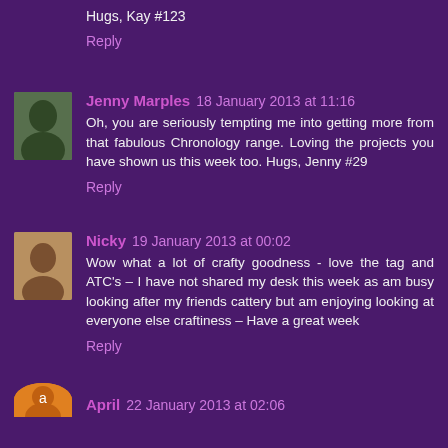Hugs, Kay #123
Reply
Jenny Marples  18 January 2013 at 11:16
Oh, you are seriously tempting me into getting more from that fabulous Chronology range. Loving the projects you have shown us this week too. Hugs, Jenny #29
Reply
Nicky  19 January 2013 at 00:02
Wow what a lot of crafty goodness - love the tag and ATC's – I have not shared my desk this week as am busy looking after my friends cattery but am enjoying looking at everyone else craftiness – Have a great week
Reply
April  22 January 2013 at 02:06